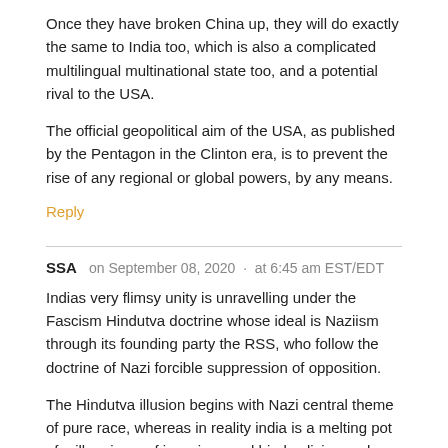Once they have broken China up, they will do exactly the same to India too, which is also a complicated multilingual multinational state too, and a potential rival to the USA.
The official geopolitical aim of the USA, as published by the Pentagon in the Clinton era, is to prevent the rise of any regional or global powers, by any means.
Reply
SSA   on September 08, 2020 · at 6:45 am EST/EDT
Indias very flimsy unity is unravelling under the Fascism Hindutva doctrine whose ideal is Naziism through its founding party the RSS, who follow the doctrine of Nazi forcible suppression of opposition.
The Hindutva illusion begins with Nazi central theme of pure race, whereas in reality india is a melting pot of millenniums of invasions and hindus living under Invaders, Particularly the muslim for over a 1000 years. The Hindutva illusion is now eating the whole edifice of united India and the country is collapsing.
Needless to say, to divert attention of starving masses is being